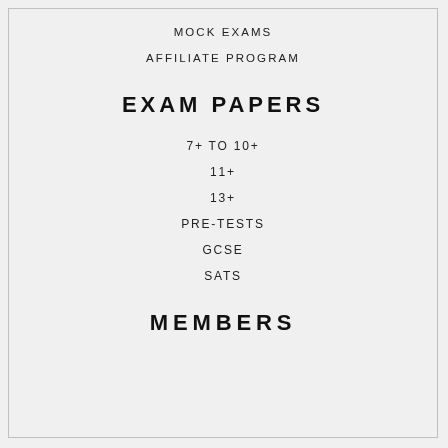MOCK EXAMS
AFFILIATE PROGRAM
EXAM PAPERS
7+ TO 10+
11+
13+
PRE-TESTS
GCSE
SATS
MEMBERS